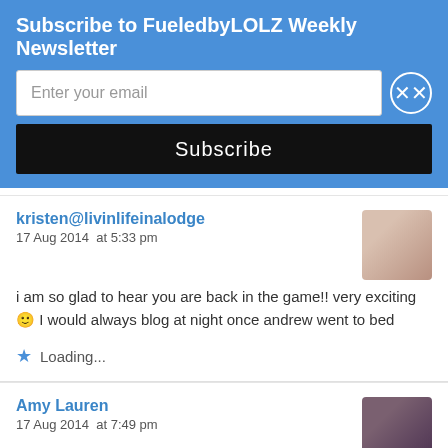Subscribe to FueledbyLOLZ Weekly Newsletter
Enter your email
Subscribe
kristen@livinlifeinalodge
17 Aug 2014 at 5:33 pm
i am so glad to hear you are back in the game!! very exciting 🙂 I would always blog at night once andrew went to bed
Loading...
Amy Lauren
17 Aug 2014 at 7:49 pm
Congratulations on a pain-free week! As far as the mystery… hey if you're running pain free, that's what really matters. i think doing a 2:30-2:45 ish long run is a great sign